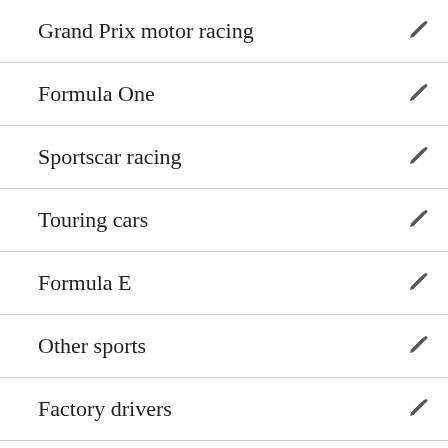Grand Prix motor racing
Formula One
Sportscar racing
Touring cars
Formula E
Other sports
Factory drivers